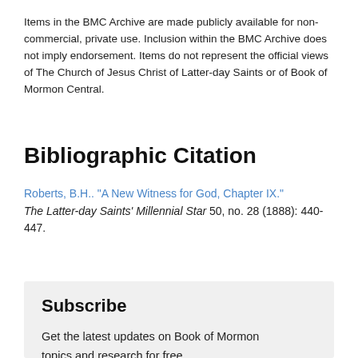Items in the BMC Archive are made publicly available for non-commercial, private use. Inclusion within the BMC Archive does not imply endorsement. Items do not represent the official views of The Church of Jesus Christ of Latter-day Saints or of Book of Mormon Central.
Bibliographic Citation
Roberts, B.H.. "A New Witness for God, Chapter IX." The Latter-day Saints' Millennial Star 50, no. 28 (1888): 440-447.
Subscribe
Get the latest updates on Book of Mormon topics and research for free